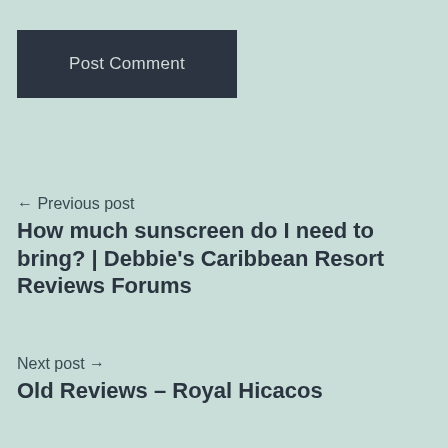Post Comment
← Previous post
How much sunscreen do I need to bring? | Debbie's Caribbean Resort Reviews Forums
Next post →
Old Reviews – Royal Hicacos